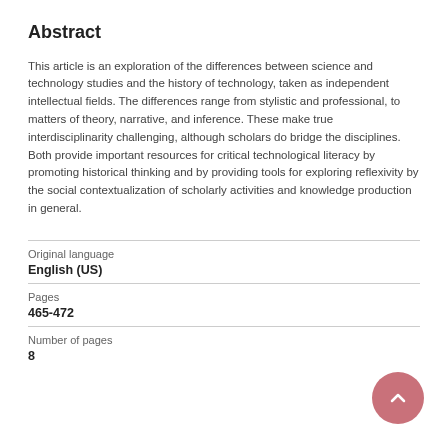Abstract
This article is an exploration of the differences between science and technology studies and the history of technology, taken as independent intellectual fields. The differences range from stylistic and professional, to matters of theory, narrative, and inference. These make true interdisciplinarity challenging, although scholars do bridge the disciplines. Both provide important resources for critical technological literacy by promoting historical thinking and by providing tools for exploring reflexivity by the social contextualization of scholarly activities and knowledge production in general.
| Original language |  |
| English (US) |  |
| Pages |  |
| 465-472 |  |
| Number of pages |  |
| 8 |  |